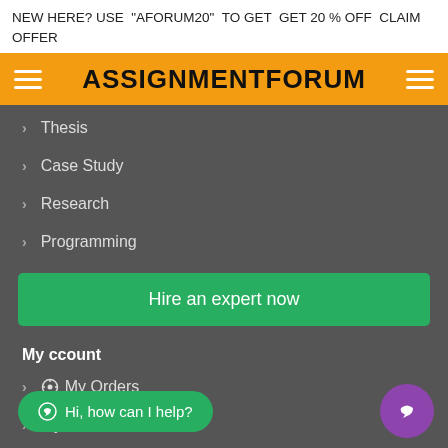NEW HERE? USE "AFORUM20" TO GET GET 20 % OFF CLAIM OFFER
ASSIGNMENTFORUM
Thesis
Case Study
Research
Programming
Hire an expert now
My ccount
My Orders
My Account
Register
Hi, how can I help?